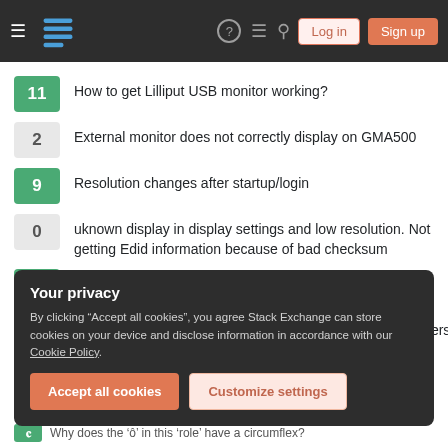Stack Exchange navigation bar with hamburger menu, logo, help, chat, search icons, Log in and Sign up buttons
11 — How to get Lilliput USB monitor working?
2 — External monitor does not correctly display on GMA500
9 — Resolution changes after startup/login
0 — uknown display in display settings and low resolution. Not getting Edid information because of bad checksum
0 — External monitor not working
0 — Limited display resolution selection with NVidia gpu & drivers
Your privacy
By clicking "Accept all cookies", you agree Stack Exchange can store cookies on your device and disclose information in accordance with our Cookie Policy.
Accept all cookies   Customize settings
Why does the 'ô' in this 'role' have a circumflex?